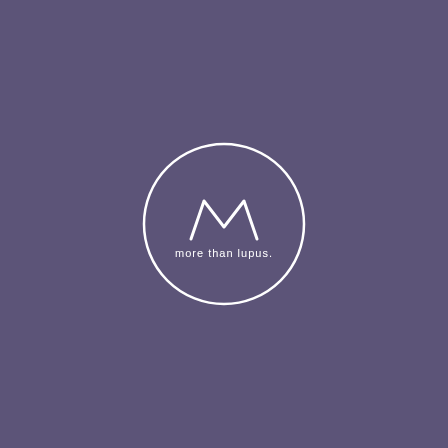[Figure (logo): More Than Lupus logo: a stylized letter M above the text 'more than lupus.' enclosed in a white circle, on a muted purple background.]